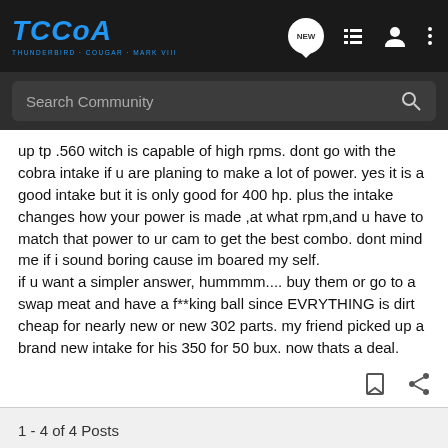TCCoA - THUNDERBIRD · COUGAR · MARK VIII
Search Community
up tp .560 witch is capable of high rpms. dont go with the cobra intake if u are planing to make a lot of power. yes it is a good intake but it is only good for 400 hp. plus the intake changes how your power is made ,at what rpm,and u have to match that power to ur cam to get the best combo. dont mind me if i sound boring cause im boared my self.
if u want a simpler answer, hummmm.... buy them or go to a swap meat and have a f**king ball since EVRYTHING is dirt cheap for nearly new or new 302 parts. my friend picked up a brand new intake for his 350 for 50 bux. now thats a deal.
1 - 4 of 4 Posts